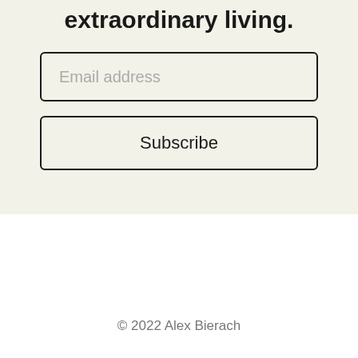extraordinary living.
Email address
Subscribe
© 2022 Alex Bierach